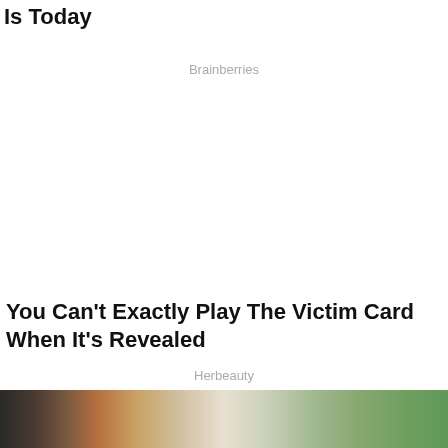Is Today
Brainberries
You Can't Exactly Play The Victim Card When It's Revealed
Herbeauty
[Figure (photo): A woman with dark hair in a bun wearing sunglasses, walking near a car on a street with palm trees and a brick building in the background.]